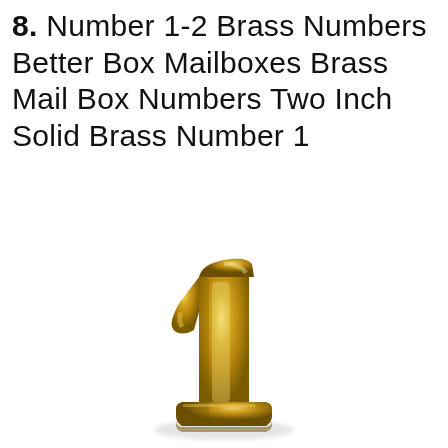8. Number 1-2 Brass Numbers Better Box Mailboxes Brass Mail Box Numbers Two Inch Solid Brass Number 1
[Figure (photo): A shiny solid brass number '1' digit, three-dimensional with reflective gold surface, photographed on a white background.]